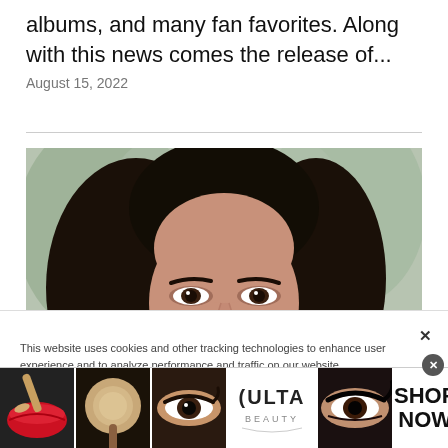albums, and many fan favorites. Along with this news comes the release of...
August 15, 2022
[Figure (photo): Portrait photograph of a woman with long dark hair, looking slightly upward, blurred green background]
This website uses cookies and other tracking technologies to enhance user experience and to analyze performance and traffic on our website. Information about your use of our site may also be shared with social media, advertising, retail and analytics providers and partners. Privacy Policy
[Figure (infographic): Ulta Beauty advertisement banner showing makeup images: red lips with brush, powder brush, eye with liner, Ulta Beauty logo, eyes with dramatic liner; with SHOP NOW text]